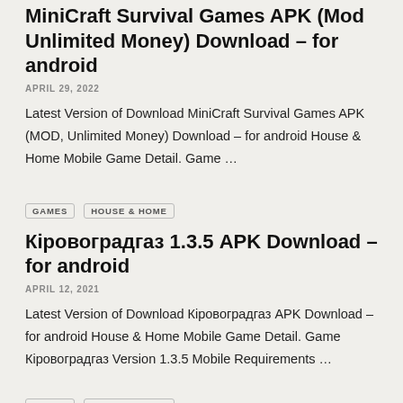MiniCraft Survival Games APK (Mod Unlimited Money) Download – for android
APRIL 29, 2022
Latest Version of Download MiniCraft Survival Games APK (MOD, Unlimited Money) Download – for android House & Home Mobile Game Detail. Game …
GAMES   HOUSE & HOME
Кіровоградгаз 1.3.5 APK Download – for android
APRIL 12, 2021
Latest Version of Download Кіровоградгаз APK Download – for android House & Home Mobile Game Detail. Game Кіровоградгаз Version 1.3.5 Mobile Requirements …
GAMES   HOUSE & HOME
SUPLA 2.3.67 APK Download – for android